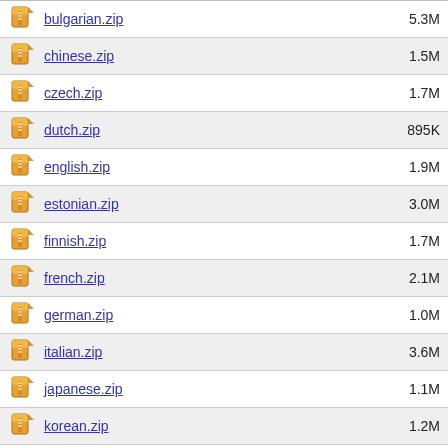bulgarian.zip  5.3M
chinese.zip  1.5M
czech.zip  1.7M
dutch.zip  895K
english.zip  1.9M
estonian.zip  3.0M
finnish.zip  1.7M
french.zip  2.1M
german.zip  1.0M
italian.zip  3.6M
japanese.zip  1.1M
korean.zip  1.2M
persian.zip  852K